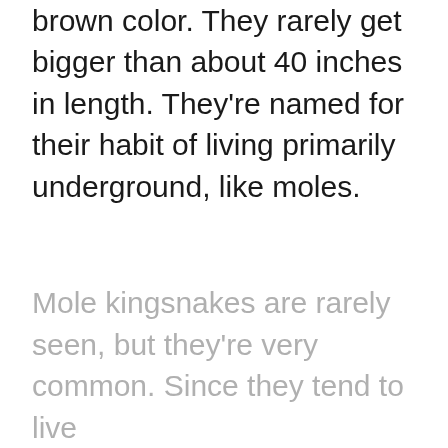brown color. They rarely get bigger than about 40 inches in length. They're named for their habit of living primarily underground, like moles.
Mole kingsnakes are rarely seen, but they're very common. Since they tend to live